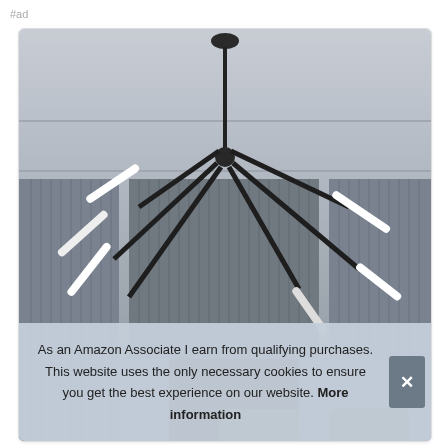#ad
[Figure (photo): Modern geometric pendant chandelier with multiple angled tubular LED arms in matte black finish, hanging from ceiling in a contemporary interior with vertical slat panels]
As an Amazon Associate I earn from qualifying purchases. This website uses the only necessary cookies to ensure you get the best experience on our website. More information